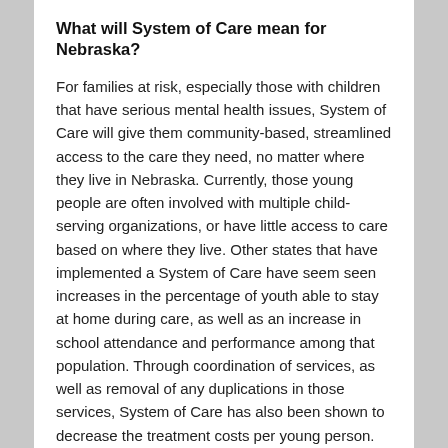What will System of Care mean for Nebraska?
For families at risk, especially those with children that have serious mental health issues, System of Care will give them community-based, streamlined access to the care they need, no matter where they live in Nebraska. Currently, those young people are often involved with multiple child-serving organizations, or have little access to care based on where they live. Other states that have implemented a System of Care have seem seen increases in the percentage of youth able to stay at home during care, as well as an increase in school attendance and performance among that population. Through coordination of services, as well as removal of any duplications in those services, System of Care has also been shown to decrease the treatment costs per young person.
How long it take to roll out System of Care?
Much of the strategic planning for System of Care has